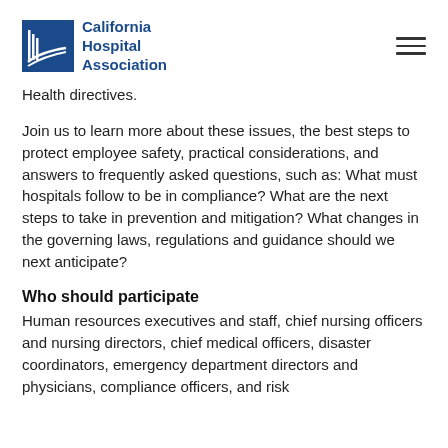California Hospital Association
Health directives.
Join us to learn more about these issues, the best steps to protect employee safety, practical considerations, and answers to frequently asked questions, such as: What must hospitals follow to be in compliance? What are the next steps to take in prevention and mitigation? What changes in the governing laws, regulations and guidance should we next anticipate?
Who should participate
Human resources executives and staff, chief nursing officers and nursing directors, chief medical officers, disaster coordinators, emergency department directors and physicians, compliance officers, and risk